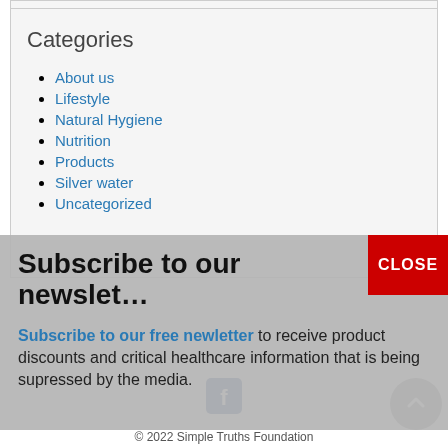Categories
About us
Lifestyle
Natural Hygiene
Nutrition
Products
Silver water
Uncategorized
Subscribe to our newsletter
Subscribe to our free newletter to receive product discounts and critical healthcare information that is being supressed by the media.
© 2022 Simple Truths Foundation